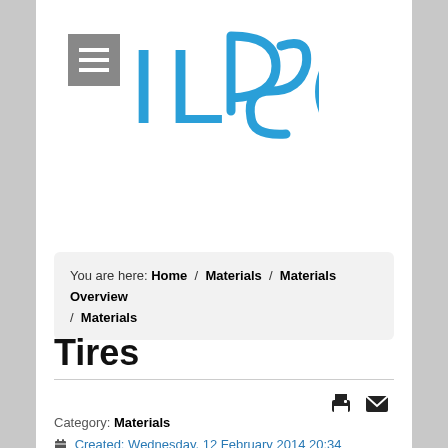[Figure (logo): ILPSC logo in blue stylized letters with interlocked P and S characters]
You are here: Home / Materials / Materials Overview / Materials
Tires
Category: Materials
Created: Wednesday, 12 February 2014 20:34